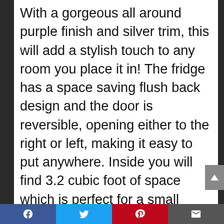With a gorgeous all around purple finish and silver trim, this will add a stylish touch to any room you place it in! The fridge has a space saving flush back design and the door is reversible, opening either to the right or left, making it easy to put anywhere. Inside you will find 3.2 cubic foot of space which is perfect for a small kitchen, dorm room, office, bed room or anywhere else that you want to have a great bar fridge! There is also a freezer compartment built in. the fridge has easy to clean and sleek looking tempered glass shelves which can slide out. The door of the fridge features a beverage can dispenser as well as a 2 Liter bottle
Facebook | Twitter | Pinterest | Email